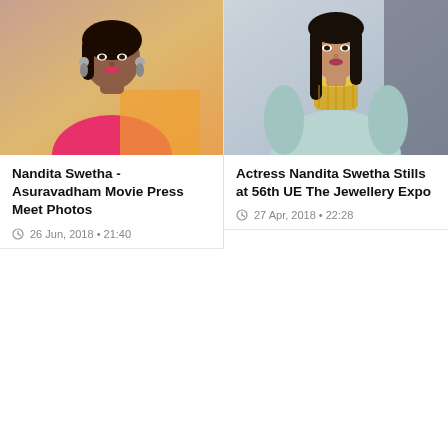[Figure (photo): Photo of actress Nandita Swetha in pink top with orange saree and silver jhumka earrings, headshot/portrait style]
Nandita Swetha - Asuravadham Movie Press Meet Photos
26 Jun, 2018 • 21:40
[Figure (photo): Photo of actress Nandita Swetha in light blue embroidered outfit with heavy gold necklace, seated at 56th UE The Jewellery Expo]
Actress Nandita Swetha Stills at 56th UE The Jewellery Expo
27 Apr, 2018 • 22:28